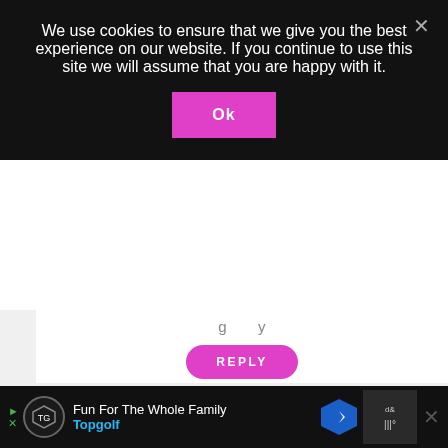We use cookies to ensure that we give you the best experience on our website. If you continue to use this site we will assume that you are happy with it.
Ok
g y
REPLY
Kyla @HouseOfHipsters
[Figure (photo): Profile photo of Kyla, a person wearing glasses]
This is sooo pretty! Thanks for sharing! I think it would be great for my new linky party starting this S
Fun For The Whole Family Topgolf